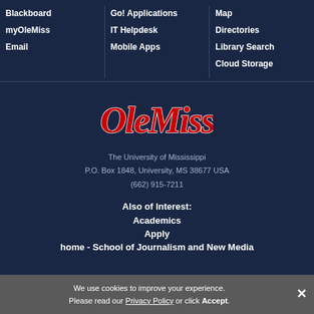Blackboard
myOleMiss
Email
Go! Applications
IT Helpdesk
Mobile Apps
Map
Directories
Library Search
Cloud Storage
[Figure (logo): Ole Miss script logo in red and white on dark navy background]
The University of Mississippi
P.O. Box 1848, University, MS 38677 USA
(662) 915-7211
Also of Interest:
Academics
Apply
home - School of Journalism and New Media
We use cookies to improve your experience. Please read our Privacy Policy or click Accept.